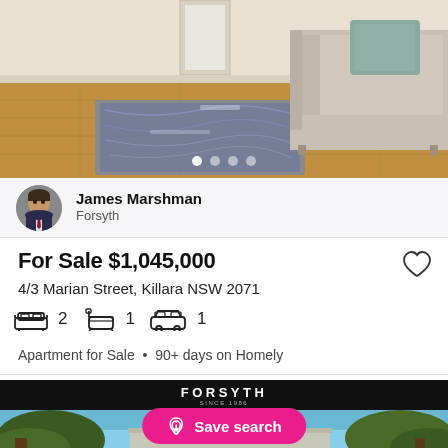[Figure (photo): Interior photo of a living room with hardwood floors, a patterned area rug, and a light beige sofa on the right. Carousel dots visible at bottom of image.]
James Marshman
Forsyth
For Sale $1,045,000
4/3 Marian Street, Killara NSW 2071
2 bedrooms  1 bathroom  1 car
Apartment for Sale  •  90+ days on Homely
[Figure (logo): FORSYTH real estate agency logo - white text on black background banner, with tagline 'SINCE 1986']
[Figure (photo): Outdoor photo showing trees against a blue sky with a building roofline visible at bottom]
Save search